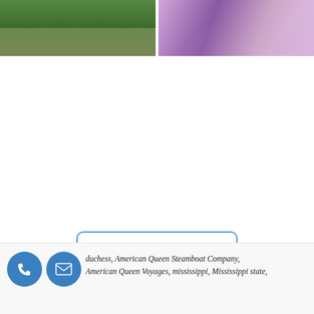[Figure (photo): Left photo showing green trees and landscape with a path or road]
[Figure (photo): Right photo showing a person in ornate purple/pink dress or costume]
Lower Mississippi Cruises
duchess, American Queen Steamboat Company, American Queen Voyages, mississippi, Mississippi state,